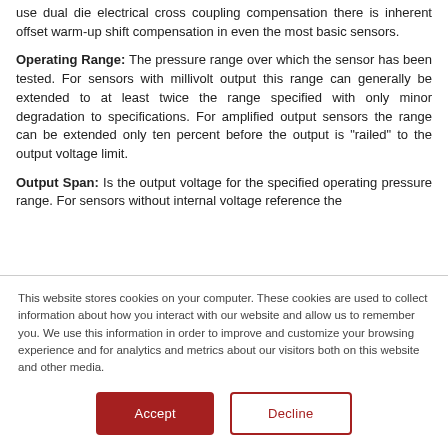use dual die electrical cross coupling compensation there is inherent offset warm-up shift compensation in even the most basic sensors.
Operating Range: The pressure range over which the sensor has been tested. For sensors with millivolt output this range can generally be extended to at least twice the range specified with only minor degradation to specifications. For amplified output sensors the range can be extended only ten percent before the output is "railed" to the output voltage limit.
Output Span: Is the output voltage for the specified operating pressure range. For sensors without internal voltage reference the
This website stores cookies on your computer. These cookies are used to collect information about how you interact with our website and allow us to remember you. We use this information in order to improve and customize your browsing experience and for analytics and metrics about our visitors both on this website and other media.